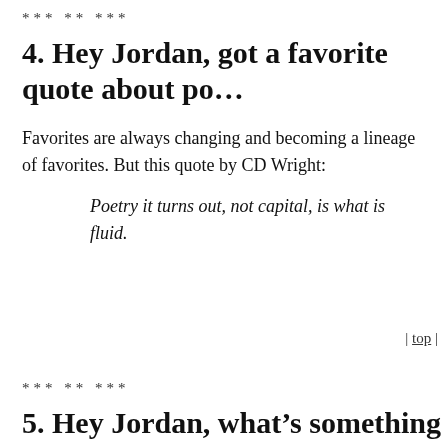*** ** ***
4. Hey Jordan, got a favorite quote about po…
Favorites are always changing and becoming a lineage of favorites. But this quote by CD Wright:
Poetry it turns out, not capital, is what is fluid.
| top |
*** ** ***
5. Hey Jordan, what’s something poetic abo…